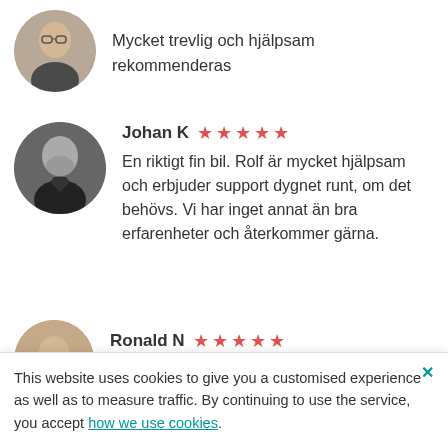[Figure (photo): Circular avatar photo of first reviewer, older man with glasses]
Mycket trevlig och hjälpsam rekommenderas
[Figure (photo): Circular avatar photo of Johan K, black and white portrait of man in dark shirt]
Johan K ★★★★★
En riktigt fin bil. Rolf är mycket hjälpsam och erbjuder support dygnet runt, om det behövs. Vi har inget annat än bra erfarenheter och återkommer gärna.
[Figure (photo): Circular avatar photo of Ronald N, partially visible]
Ronald N ★★★★★
This website uses cookies to give you a customised experience as well as to measure traffic. By continuing to use the service, you accept how we use cookies.